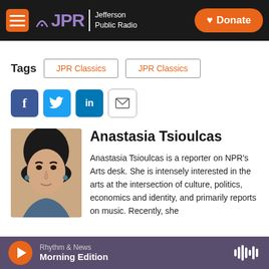JPR Jefferson Public Radio | Donate
Tags  JPR Classics  JPR Classics
[Figure (infographic): Social share buttons: Facebook (blue), Twitter (blue), LinkedIn (blue), Email (outlined)]
Anastasia Tsioulcas
Anastasia Tsioulcas is a reporter on NPR's Arts desk. She is intensely interested in the arts at the intersection of culture, politics, economics and identity, and primarily reports on music. Recently, she
Rhythm & News  Morning Edition